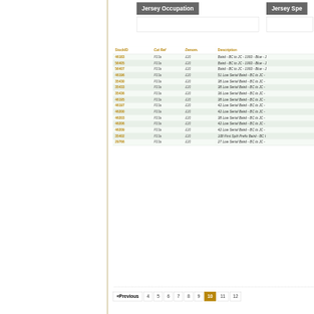Jersey Occupation
Jersey Spe
| StockID | Cat Ref | Denom. | Description |
| --- | --- | --- | --- |
| 46183 | P23a | £20 | Baird - BC to JC - 1993 - Blue - J |
| 56405 | P23a | £20 | Baird - BC to JC - 1993 - Blue - J |
| 56407 | P23a | £20 | Baird - BC to JC - 1993 - Blue - J |
| 46196 | P23a | £20 | 51 Low Serial Baird - BC to JC - |
| 35430 | P23a | £20 | 38 Low Serial Baird - BC to JC - |
| 35433 | P23a | £20 | 38 Low Serial Baird - BC to JC - |
| 35436 | P23a | £20 | 36 Low Serial Baird - BC to JC - |
| 46195 | P23a | £20 | 38 Low Serial Baird - BC to JC - |
| 46197 | P23a | £20 | 42 Low Serial Baird - BC to JC - |
| 46200 | P23a | £20 | 42 Low Serial Baird - BC to JC - |
| 46203 | P23a | £20 | 38 Low Serial Baird - BC to JC - |
| 46206 | P23a | £20 | 42 Low Serial Baird - BC to JC - |
| 46209 | P23a | £20 | 42 Low Serial Baird - BC to JC - |
| 35402 | P23a | £20 | 108 First Split Prefix Baird - BC t |
| 29766 | P23a | £20 | 27 Low Serial Baird - BC to JC - |
«Previous  4  5  6  7  8  9  10  11  12